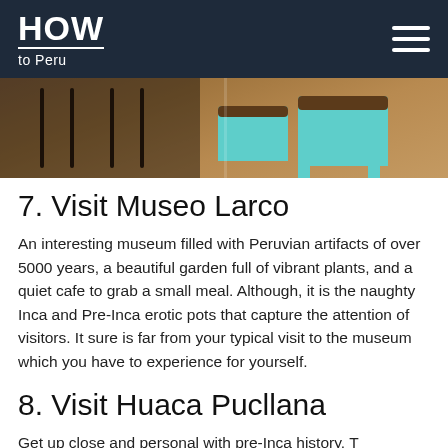HOW to Peru
[Figure (photo): Interior photo of a restaurant or cafe with wooden floor, dark chairs on the left and teal/mint colored metal stools on the right]
7. Visit Museo Larco
An interesting museum filled with Peruvian artifacts of over 5000 years, a beautiful garden full of vibrant plants, and a quiet cafe to grab a small meal. Although, it is the naughty Inca and Pre-Inca erotic pots that capture the attention of visitors. It sure is far from your typical visit to the museum which you have to experience for yourself.
8. Visit Huaca Pucllana
Get up close and personal with pre-Inca history. These incredible ruins are located right in the heart of Miraflores and are a window into history. There is also a world-class restaurant within the ruins, where you can enjoy Peruvian